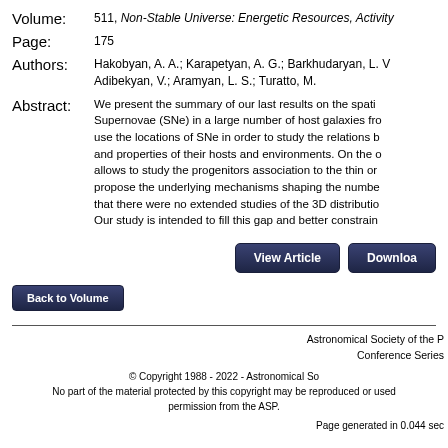Volume: 511, Non-Stable Universe: Energetic Resources, Activity...
Page: 175
Authors: Hakobyan, A. A.; Karapetyan, A. G.; Barkhudaryan, L. V.; Adibekyan, V.; Aramyan, L. S.; Turatto, M.
Abstract: We present the summary of our last results on the spatial distribution of Supernovae (SNe) in a large number of host galaxies from... use the locations of SNe in order to study the relations b... and properties of their hosts and environments. On the ... allows to study the progenitors association to the thin or... propose the underlying mechanisms shaping the numbe... that there were no extended studies of the 3D distributio... Our study is intended to fill this gap and better constrain...
View Article
Download
Back to Volume
Astronomical Society of the P... Conference Series
© Copyright 1988 - 2022 - Astronomical So...
No part of the material protected by this copyright may be reproduced or used... permission from the ASP.
Page generated in 0.044 sec...